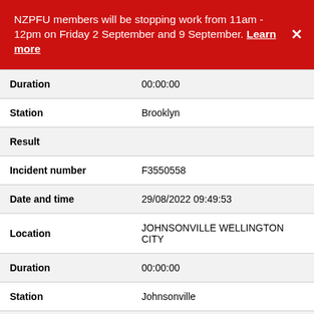NZPFU members will be stopping work from 11am - 12pm on Friday 2 September and 9 September. Learn more
| Duration | 00:00:00 |
| Station | Brooklyn |
| Result |  |
| Incident number | F3550558 |
| Date and time | 29/08/2022 09:49:53 |
| Location | JOHNSONVILLE WELLINGTON CITY |
| Duration | 00:00:00 |
| Station | Johnsonville |
| Result |  |